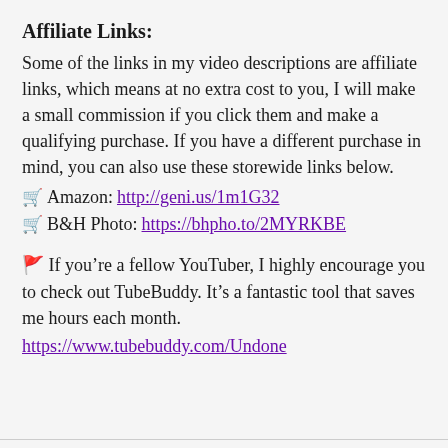Affiliate Links:
Some of the links in my video descriptions are affiliate links, which means at no extra cost to you, I will make a small commission if you click them and make a qualifying purchase. If you have a different purchase in mind, you can also use these storewide links below.
🛒 Amazon: http://geni.us/1m1G32
🛒 B&H Photo: https://bhpho.to/2MYRKBE
🚩 If you're a fellow YouTuber, I highly encourage you to check out TubeBuddy. It's a fantastic tool that saves me hours each month.
https://www.tubebuddy.com/Undone